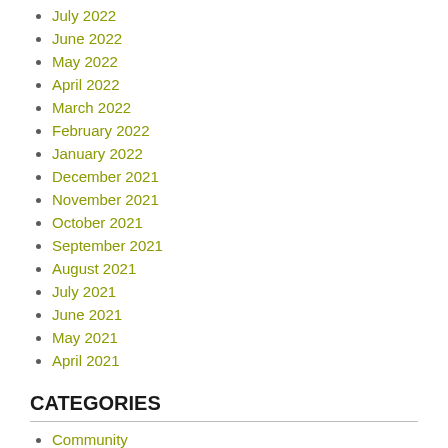July 2022
June 2022
May 2022
April 2022
March 2022
February 2022
January 2022
December 2021
November 2021
October 2021
September 2021
August 2021
July 2021
June 2021
May 2021
April 2021
CATEGORIES
Community